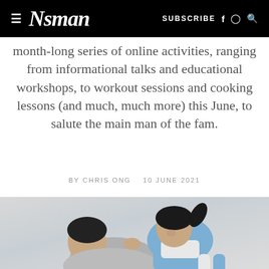≡ Nsman  SUBSCRIBE f ⊙ Q
month-long series of online activities, ranging from informational talks and educational workshops, to workout sessions and cooking lessons (and much, much more) this June, to salute the main man of the fam.
BY CHRIS ONG   10 JUNE 2021
[Figure (photo): A young girl playfully leaning over a man's back (father and daughter), both smiling and laughing, against a light background. The child is wearing a denim dress and white top, the man is wearing a grey t-shirt.]